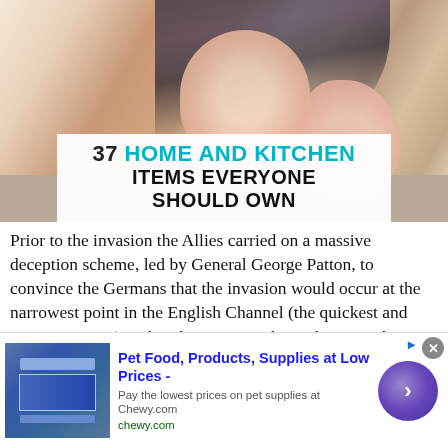[Figure (photo): Woman and young girl cooking together in kitchen, both smiling and wearing aprons, overlaid with promotional text about home and kitchen items]
Prior to the invasion the Allies carried on a massive deception scheme, led by General George Patton, to convince the Germans that the invasion would occur at the narrowest point in the English Channel (the quickest and easiest to cross), rather than Normandy. Fighting on the invasion beaches continued until June 11. By the end of June, 850,000 Allied Soldiers and 150,000...
[Figure (infographic): Advertisement banner for Chewy.com pet food and supplies. Shows blue branded image on left, ad text reading 'Pet Food, Products, Supplies at Low Prices -' with subtext 'Pay the lowest prices on pet supplies at Chewy.com' and 'chewy.com', with a purple circle arrow button on right. Close button (x) in top right corner.]